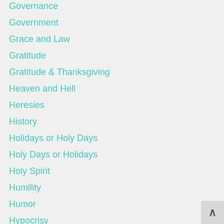Governance
Government
Grace and Law
Gratitude
Gratitude & Thanksgiving
Heaven and Hell
Heresies
History
Holidays or Holy Days
Holy Days or Holidays
Holy Spirit
Humility
Humor
Hypocrisy